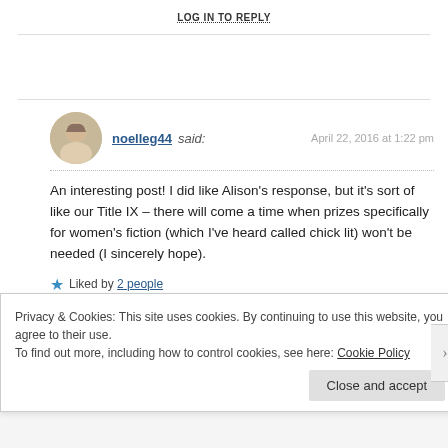LOG IN TO REPLY
noelleg44 said: April 22, 2016 at 1:22 pm
An interesting post! I did like Alison’s response, but it’s sort of like our Title IX – there will come a time when prizes specifically for women’s fiction (which I’ve heard called chick lit) won’t be needed (I sincerely hope).
★ Liked by 2 people
LOG IN TO REPLY
Privacy & Cookies: This site uses cookies. By continuing to use this website, you agree to their use.
To find out more, including how to control cookies, see here: Cookie Policy
Close and accept